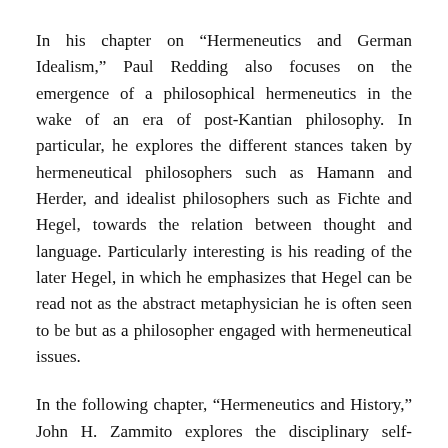In his chapter on “Hermeneutics and German Idealism,” Paul Redding also focuses on the emergence of a philosophical hermeneutics in the wake of an era of post-Kantian philosophy. In particular, he explores the different stances taken by hermeneutical philosophers such as Hamann and Herder, and idealist philosophers such as Fichte and Hegel, towards the relation between thought and language. Particularly interesting is his reading of the later Hegel, in which he emphasizes that Hegel can be read not as the abstract metaphysician he is often seen to be but as a philosopher engaged with hermeneutical issues.
In the following chapter, “Hermeneutics and History,” John H. Zammito explores the disciplinary self-constitution of history and the role of hermeneutics in that disciplinary constitution.